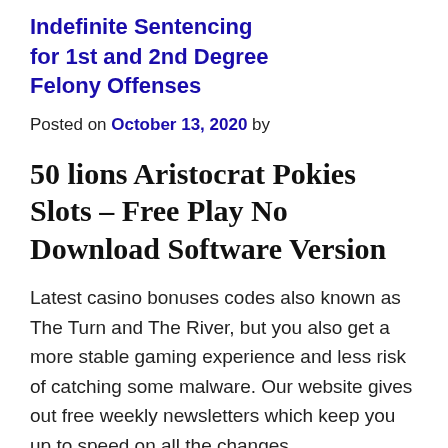Indefinite Sentencing for 1st and 2nd Degree Felony Offenses
Posted on October 13, 2020 by
50 lions Aristocrat Pokies Slots – Free Play No Download Software Version
Latest casino bonuses codes also known as The Turn and The River, but you also get a more stable gaming experience and less risk of catching some malware. Our website gives out free weekly newsletters which keep you up to speed on all the changes